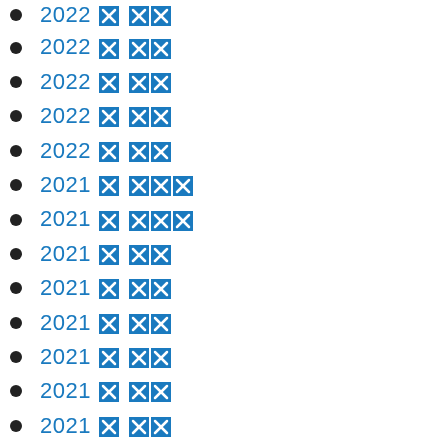2022 [icon] [icon][icon]
2022 [icon] [icon][icon]
2022 [icon] [icon][icon]
2022 [icon] [icon][icon]
2022 [icon] [icon][icon]
2021 [icon] [icon][icon][icon]
2021 [icon] [icon][icon][icon]
2021 [icon] [icon][icon]
2021 [icon] [icon][icon]
2021 [icon] [icon][icon]
2021 [icon] [icon][icon]
2021 [icon] [icon][icon]
2021 [icon] [icon][icon]
2021 [icon] [icon][icon]
2021 [icon] [icon][icon]
2021 [icon] [icon][icon]
2021 [icon] [icon][icon]